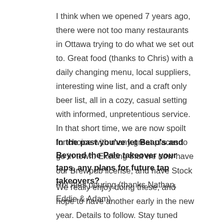I think when we opened 7 years ago, there were not too many restaurants in Ottawa trying to do what we set out to. Great food (thanks to Chris) with a daily changing menu, local suppliers, interesting wine list, and a craft only beer list, all in a cozy, casual setting with informed, unpretentious service. In that short time, we are now spoilt for choice with many great places to go in town. Exciting that we now have our Brewpub license, and have Stock Pot Ales pouring (thanks Nathan, Eddie & Adam).
In the past you've let Beau's and Beyond the Pale takeover your taps, any plans for future tap takeovers?
We really enjoy doing these, and  hope to have another early in the new year. Details to follow. Stay tuned